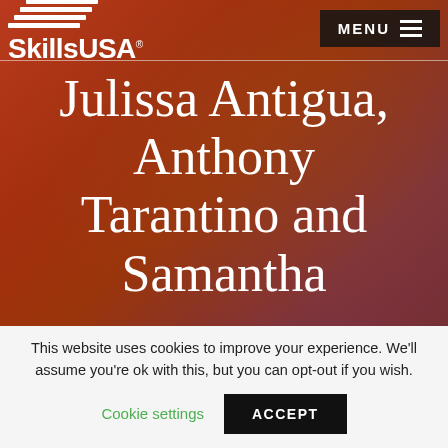[Figure (screenshot): SkillsUSA website header with logo, MENU button, and hero image of a person with glasses overlaid with red/orange gradient tint. Large white serif text reads 'Julissa Antigua, Anthony Tarantino and Samantha' on the hero image.]
Julissa Antigua, Anthony Tarantino and Samantha
This website uses cookies to improve your experience. We'll assume you're ok with this, but you can opt-out if you wish.
Cookie settings   ACCEPT